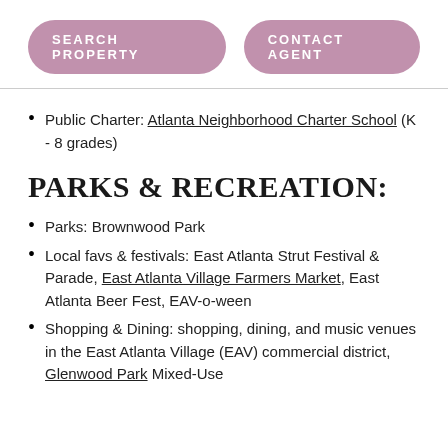SEARCH PROPERTY | CONTACT AGENT
Public Charter: Atlanta Neighborhood Charter School (K - 8 grades)
PARKS & RECREATION:
Parks: Brownwood Park
Local favs & festivals: East Atlanta Strut Festival & Parade, East Atlanta Village Farmers Market, East Atlanta Beer Fest, EAV-o-ween
Shopping & Dining: shopping, dining, and music venues in the East Atlanta Village (EAV) commercial district, Glenwood Park Mixed-Use